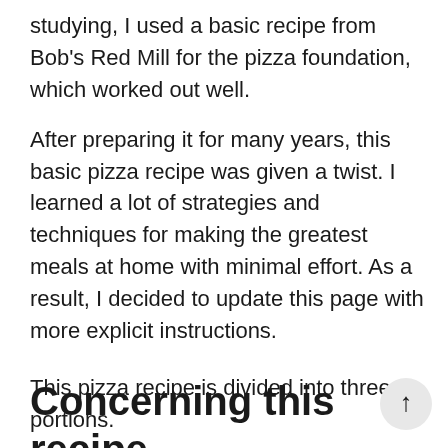studying, I used a basic recipe from Bob's Red Mill for the pizza foundation, which worked out well.
After preparing it for many years, this basic pizza recipe was given a twist. I learned a lot of strategies and techniques for making the greatest meals at home with minimal effort. As a result, I decided to update this page with more explicit instructions.
Concerning this recipe
This pizza recipe is divided into three portions.